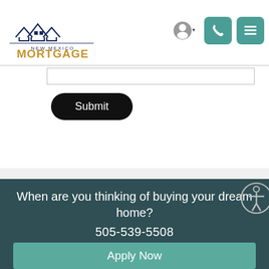[Figure (logo): New Mexico Mortgage Advisors logo with house rooftops and company name in navy and gold]
[Figure (other): User account icon with dropdown arrow and two teal navigation buttons (phone and menu)]
[Figure (other): Text input field (form element)]
Submit
When are you thinking of buying your dream home?
505-539-5508
Apply Now